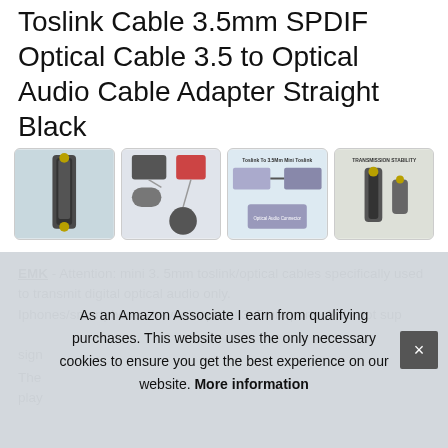Toslink Cable 3.5mm SPDIF Optical Cable 3.5 to Optical Audio Cable Adapter Straight Black
[Figure (photo): Four product thumbnail images showing the Toslink cable, compatible devices, cable diagram, and transmission stability graphic]
EMK - Attention: mini 3. 5mm toslink/optical cables specifically used to transmit digital optical audio only. Iphones/smartphones haven't optical 3. 5mm ports. It do not sup... sign...
The... play...
As an Amazon Associate I earn from qualifying purchases. This website uses the only necessary cookies to ensure you get the best experience on our website. More information